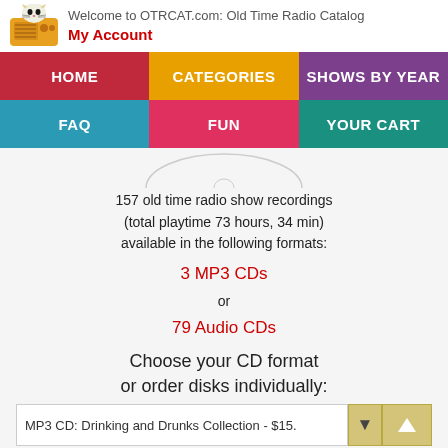Welcome to OTRCAT.com: Old Time Radio Catalog
My Account
HOME
CATEGORIES
SHOWS BY YEAR
FAQ
FUN
YOUR CART
157 old time radio show recordings (total playtime 73 hours, 34 min) available in the following formats:
3 MP3 CDs
or
79 Audio CDs
Choose your CD format or order disks individually:
MP3 CD: Drinking and Drunks Collection - $15.